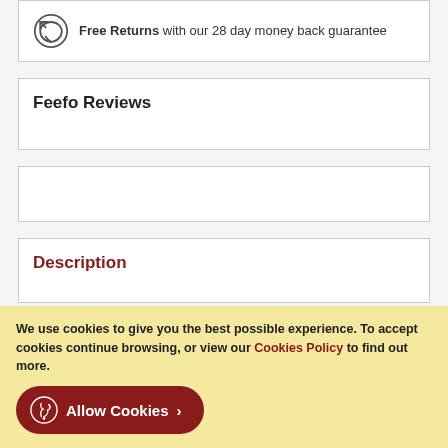Free Returns with our 28 day money back guarantee
Feefo Reviews
Description
Delivery
We use cookies to give you the best possible experience. To accept cookies continue browsing, or view our Cookies Policy to find out more.
Allow Cookies